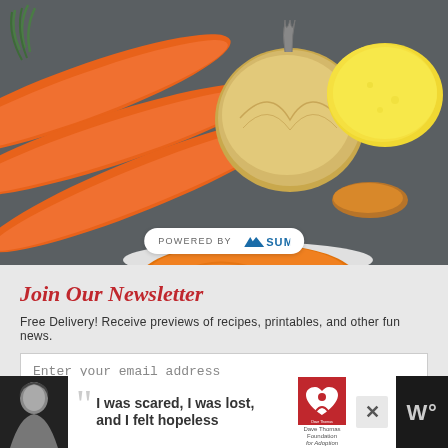[Figure (photo): Overhead view of carrots, an onion, a lemon, and spice powder on a dark gray surface with a white bowl of orange carrot soup in the lower center]
POWERED BY 🏔 SUMO
Join Our Newsletter
Free Delivery! Receive previews of recipes, printables, and other fun news.
Enter your email address
[Figure (infographic): Advertisement banner: black and white photo of a young woman, large quotation marks, text 'I was scared, I was lost, and I felt hopeless', Dave Thomas Foundation for Adoption logo, and close button]